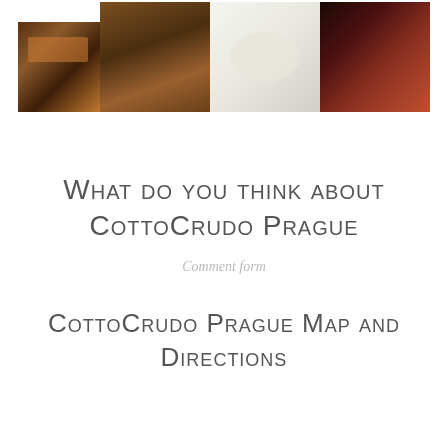[Figure (photo): A horizontal strip of four restaurant photos: a dimly lit interior, food on a buffet, a plated dish on white background, and a restaurant interior with warm lighting]
What do you think about CottoCrudo Prague
Comment form
CottoCrudo Prague Map and Directions